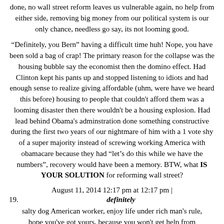done, no wall street reform leaves us vulnerable again, no help from either side, removing big money from our political system is our only chance, needless go say, its not looming good.
"Definitely, you Bern" having a difficult time huh! Nope, you have been sold a bag of crap! The primary reason for the collapse was the housing bubble say the economist then the domino effect. Had Clinton kept his pants up and stopped listening to idiots and had enough sense to realize giving affordable (uhm, were have we heard this before) housing to people that couldn't afford them was a looming disaster then there wouldn't be a housing explosion. Had lead behind Obama's adminstration done something constructive during the first two years of our nightmare of him with a 1 vote shy of a super majority instead of screwing working America with obamacare because they had "let's do this while we have the numbers", recovery would have been a memory. BTW, what IS YOUR SOLUTION for reforming wall street?
August 11, 2014 12:17 pm at 12:17 pm |
19.    definitely
salty dog American worker, enjoy life under rich man's rule, hope you've got yours, because you won't get help from